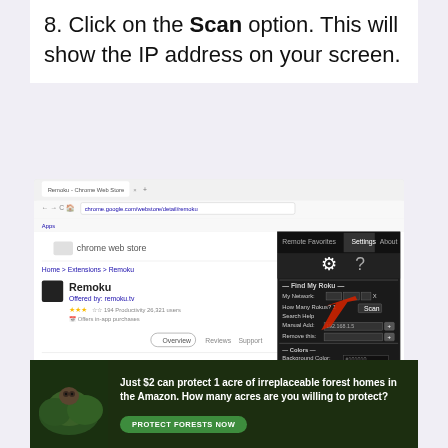8. Click on the Scan option. This will show the IP address on your screen.
[Figure (screenshot): Screenshot of Chrome Web Store page for Remoku extension with a Remoku settings panel open showing Find My Roku options including Network fields, Scan button, Colors, and Favorites sections. A red arrow points to the Scan button.]
Note: Ensure that the PC is connected
[Figure (infographic): Advertisement banner: Just $2 can protect 1 acre of irreplaceable forest homes in the Amazon. How many acres are you willing to protect? PROTECT FORESTS NOW]